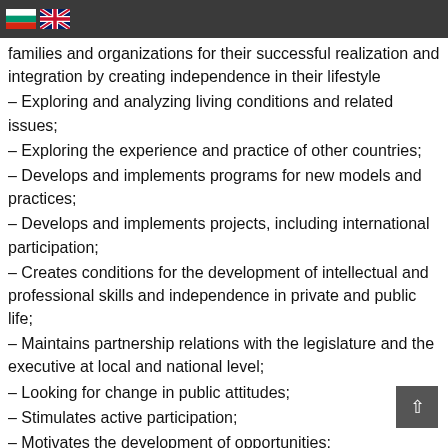🇧🇬 🇬🇧
families and organizations for their successful realization and integration by creating independence in their lifestyle
– Exploring and analyzing living conditions and related issues;
– Exploring the experience and practice of other countries;
– Develops and implements programs for new models and practices;
– Develops and implements projects, including international participation;
– Creates conditions for the development of intellectual and professional skills and independence in private and public life;
– Maintains partnership relations with the legislature and the executive at local and national level;
– Looking for change in public attitudes;
– Stimulates active participation;
– Motivates the development of opportunities;
– Provides access to information and communication;